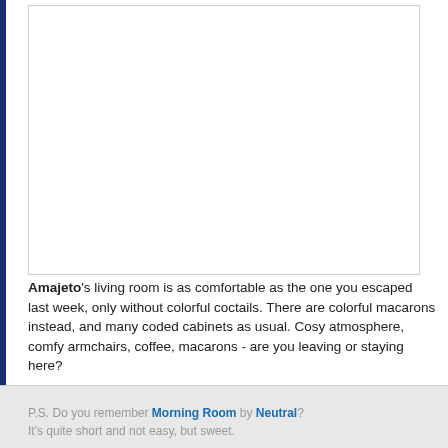[Figure (photo): A white/blank image placeholder representing a living room scene]
Amajeto's living room is as comfortable as the one you escaped last week, only without colorful coctails. There are colorful macarons instead, and many coded cabinets as usual. Cosy atmosphere, comfy armchairs, coffee, macarons - are you leaving or staying here?

The cursor isn't changing, no save button, one ending.
P.S. Do you remember Morning Room by Neutral? It's quite short and not easy, but sweet.